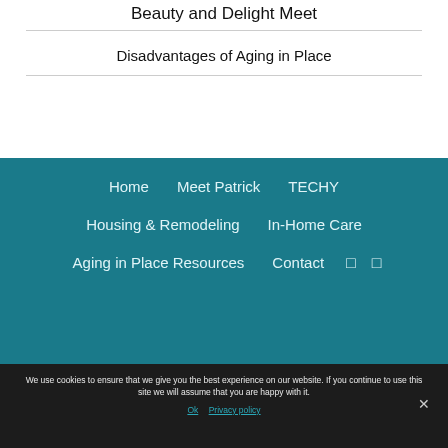Beauty and Delight Meet
Disadvantages of Aging in Place
Home
Meet Patrick
TECHY
Housing & Remodeling
In-Home Care
Aging in Place Resources
Contact
We use cookies to ensure that we give you the best experience on our website. If you continue to use this site we will assume that you are happy with it.
Ok   Privacy policy